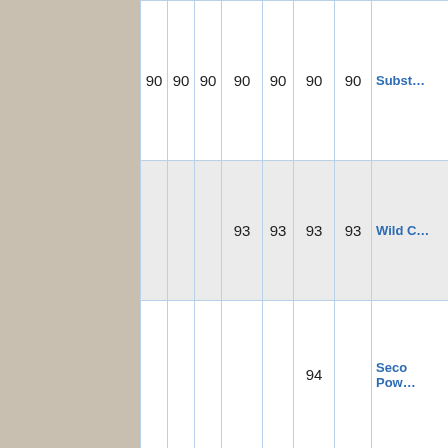| 90 | 90 | 90 | 90 | 90 | 90 | 90 | Subst… |
|  |  | 93 | 93 | 93 | 93 | Wild C… |
|  |  |  | 94 |  | Seco Pow… |
|  |  | 94 | 94 |  | Rock S… |